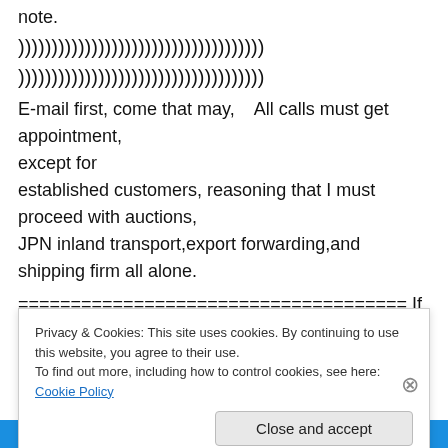note.
)))))))))))))))))))))))))))))))))))))
)))))))))))))))))))))))))))))))))))))
E-mail first, come that may,    All calls must get appointment,
except for
established customers, reasoning that I must proceed with auctions,
JPN inland transport,export forwarding,and shipping firm all alone.
===================================== If you have
Privacy & Cookies: This site uses cookies. By continuing to use this website, you agree to their use.
To find out more, including how to control cookies, see here: Cookie Policy
Close and accept